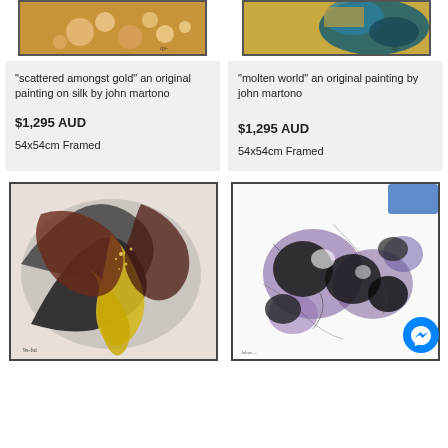[Figure (photo): Abstract painting on silk - scattered amongst gold - warm golden tones with round bubble-like shapes, artist signature visible]
[Figure (photo): Abstract painting - molten world - gold and teal/blue swirling forms on textured background, artist signature visible]
"scattered amongst gold" an original painting on silk by john martono

$1,295 AUD

54x54cm Framed
"molten world" an original painting by john martono

$1,295 AUD

54x54cm Framed
[Figure (photo): Abstract painting with swirling black, yellow, brown and gold glitter tones]
[Figure (photo): Abstract painting with purple, black and white ink-like swirling forms on white background, with blue messenger chat button overlay]